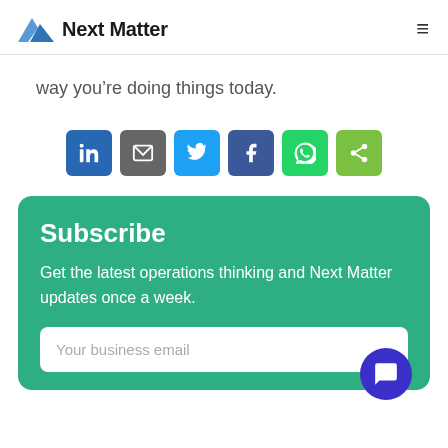Next Matter
way you’re doing things today.
[Figure (infographic): Row of six social sharing buttons: LinkedIn (dark blue), Email (gray), Twitter (light blue), Facebook (dark blue), WhatsApp (green), Share (lime green)]
Subscribe
Get the latest operations thinking and Next Matter updates once a week.
Your business email